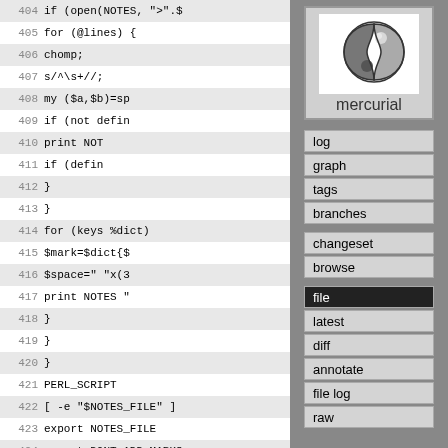[Figure (screenshot): Code viewer panel showing Perl script lines 404-431 with alternating row shading and line numbers]
[Figure (logo): Mercurial VCS logo with yin-yang style swirl graphic and text 'mercurial']
log
graph
tags
branches
changeset
browse
file (active)
latest
diff
annotate
file log
raw